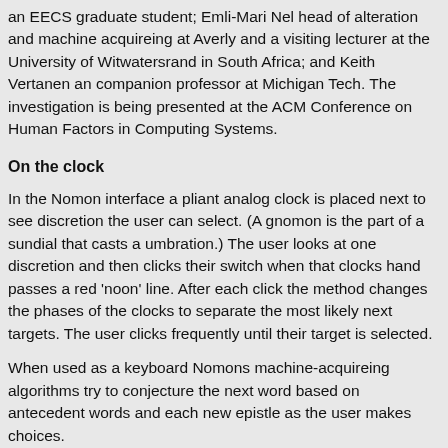an EECS graduate student; Emli-Mari Nel head of alteration and machine acquireing at Averly and a visiting lecturer at the University of Witwatersrand in South Africa; and Keith Vertanen an companion professor at Michigan Tech. The investigation is being presented at the ACM Conference on Human Factors in Computing Systems.
On the clock
In the Nomon interface a pliant analog clock is placed next to see discretion the user can select. (A gnomon is the part of a sundial that casts a umbration.) The user looks at one discretion and then clicks their switch when that clocks hand passes a red 'noon' line. After each click the method changes the phases of the clocks to separate the most likely next targets. The user clicks frequently until their target is selected.
When used as a keyboard Nomons machine-acquireing algorithms try to conjecture the next word based on antecedent words and each new epistle as the user makes choices.